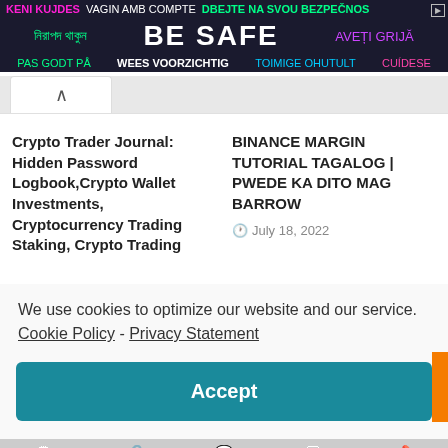[Figure (infographic): Multilingual safety banner advertisement with text 'BE SAFE' in multiple languages including Bengali, Romanian, Danish, Dutch, Finnish, Spanish, Albanian, Serbian]
Crypto Trader Journal: Hidden Password Logbook,Crypto Wallet Investments, Cryptocurrency Trading Staking, Crypto Trading
BINANCE MARGIN TUTORIAL TAGALOG | PWEDE KA DITO MAG BARROW
July 18, 2022
We use cookies to optimize our website and our service.  Cookie Policy - Privacy Statement
Accept